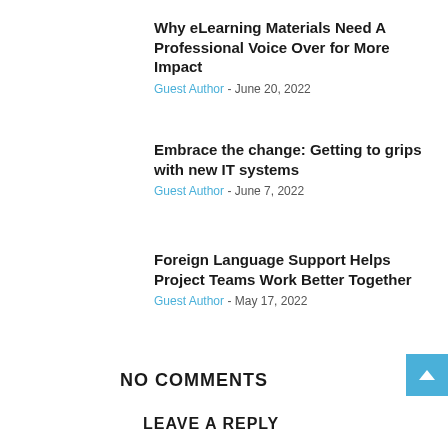Why eLearning Materials Need A Professional Voice Over for More Impact
Guest Author - June 20, 2022
Embrace the change: Getting to grips with new IT systems
Guest Author - June 7, 2022
Foreign Language Support Helps Project Teams Work Better Together
Guest Author - May 17, 2022
NO COMMENTS
LEAVE A REPLY